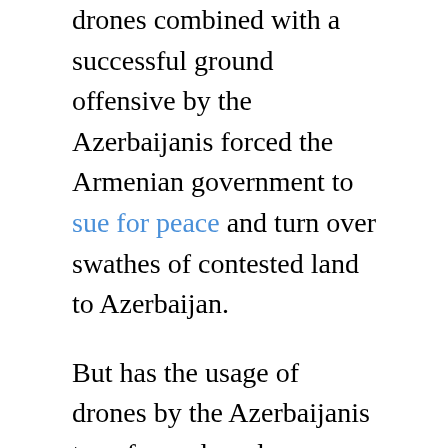drones combined with a successful ground offensive by the Azerbaijanis forced the Armenian government to sue for peace and turn over swathes of contested land to Azerbaijan.
But has the usage of drones by the Azerbaijanis transformed modern warfare? The persuasive answer lies in lessons from strategic history.
Drones (at least the powered versions) had first been experimented with during World War I as target practice for pilots and anti-aircraft artillery gunners. Drones continued to be developed during the interwar years. During World War II, the Germans had built remotely piloted vehicles such as anti-ship missiles, and the V1 and V2...